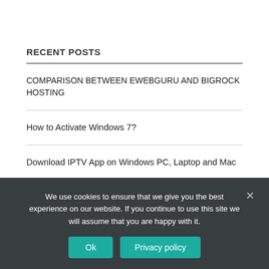RECENT POSTS
COMPARISON BETWEEN EWEBGURU AND BIGROCK HOSTING
How to Activate Windows 7?
Download IPTV App on Windows PC, Laptop and Mac
Piezoelectric & Piezo Stage
We use cookies to ensure that we give you the best experience on our website. If you continue to use this site we will assume that you are happy with it.
Ok
Privacy policy